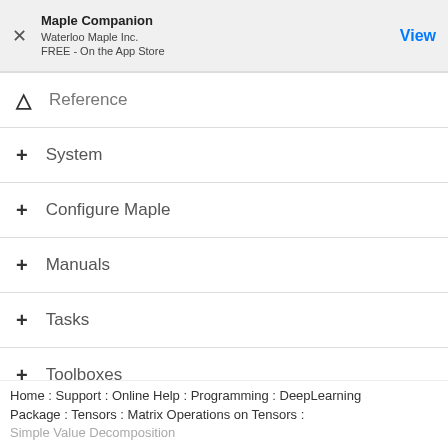[Figure (screenshot): App Store banner for Maple Companion by Waterloo Maple Inc., FREE on the App Store, with a View button]
Reference
System
Configure Maple
Manuals
Tasks
Toolboxes
MapleSim
MapleSim Toolboxes
Home : Support : Online Help : Programming : DeepLearning Package : Tensors : Matrix Operations on Tensors : Simple Value Decomposition